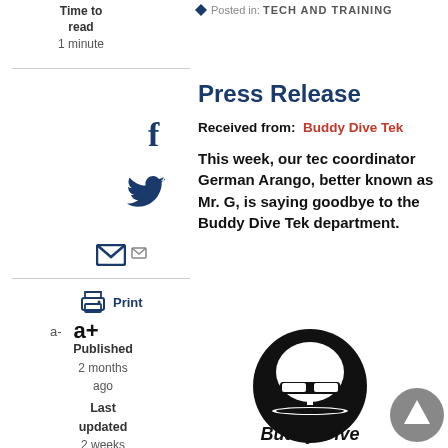Posted in: TECH AND TRAINING
Time to read
1 minute
Press Release
Received from:  Buddy Dive Tek
This week, our tec coordinator German Arango, better known as Mr. G, is saying goodbye to the Buddy Dive Tek department.
[Figure (logo): Buddy Dive logo - diver helmet silhouette in black circle with italic text 'Buddy Dive' below]
Published
2 months ago
Last updated
2 weeks ago